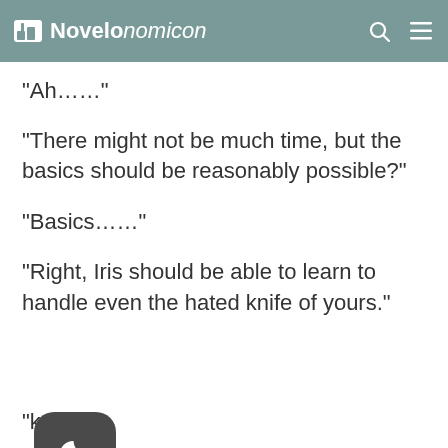Novelonomicon
“Ah…”
“There might not be much time, but the basics should be reasonably possible?”
“Basics…”
“Right, Iris should be able to learn to handle even the hated knife of yours.”
“knife?”